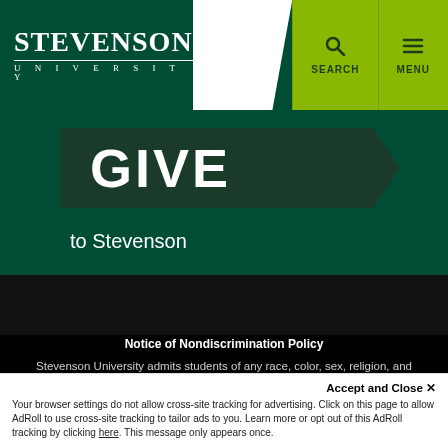[Figure (logo): Stevenson University logo with text 'STEVENSON UNIVERSITY' in white on dark green background]
GIVE
to Stevenson
Notice of Nondiscrimination Policy
Stevenson University admits students of any race, color, sex, religion, and national or ethnic origin to all of the rights, privileges, programs, benefits, and activities generally accorded or made available to students at the University. It does not discriminate on the basis of race, color, sex, religion, disability, and national or ethnic origin in the administration of its education policies, admission policies, scholarship and loan programs, and other university administered programs. The University is committed to providing all
Accept and Close ✕
Your browser settings do not allow cross-site tracking for advertising. Click on this page to allow AdRoll to use cross-site tracking to tailor ads to you. Learn more or opt out of this AdRoll tracking by clicking here. This message only appears once.